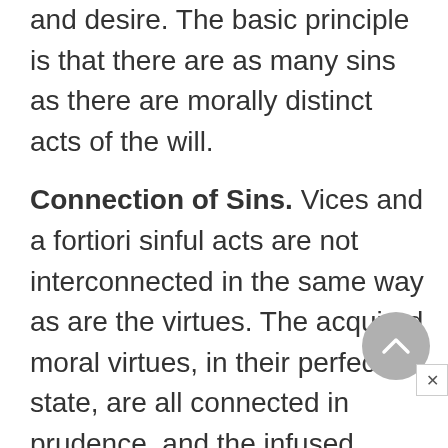and desire. The basic principle is that there are as many sins as there are morally distinct acts of the will.
Connection of Sins.
Vices and a fortiori sinful acts are not interconnected in the same way as are the virtues. The acquired moral virtues, in their perfect state, are all connected in prudence, and the infused virtues are connected in charity, so that the possession of any one perfect virtue guarantees the possession of the others, as well. Such